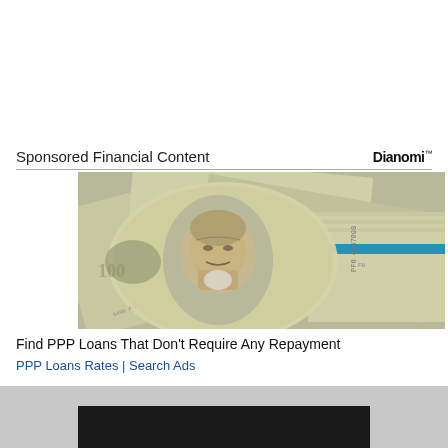Sponsored Financial Content
[Figure (photo): Stack of US $100 bills with a blue rubber band around them, close-up showing Benjamin Franklin's portrait on the top bill]
Find PPP Loans That Don't Require Any Repayment
PPP Loans Rates | Search Ads